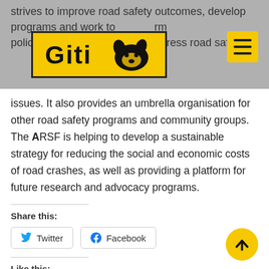strives to improve road safety outcomes, develop programs and work to inform policymakers on methods to address road safety
[Figure (logo): Giti tire brand logo: yellow rectangle with black border, bold text 'Giti' and dog head silhouette icon]
[Figure (other): Hamburger menu icon: yellow rounded square with three horizontal black lines]
issues. It also provides an umbrella organisation for other road safety programs and community groups. The ARSF is helping to develop a sustainable strategy for reducing the social and economic costs of road crashes, as well as providing a platform for future research and advocacy programs.
Share this:
Twitter   Facebook
Like this:
Loading...